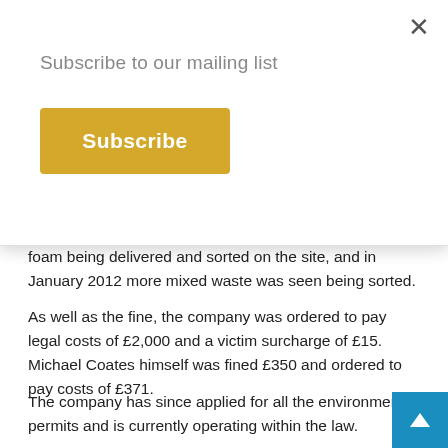Subscribe to our mailing list
Subscribe
foam being delivered and sorted on the site, and in January 2012 more mixed waste was seen being sorted.
As well as the fine, the company was ordered to pay legal costs of £2,000 and a victim surcharge of £15. Michael Coates himself was fined £350 and ordered to pay costs of £371.
The company has since applied for all the environmental permits and is currently operating within the law.
Environment Agency environment crime officer Jim Crammon said: “The result of this case demonstrates that environmental crime is a serious offence. Michael Coates Recycling carried